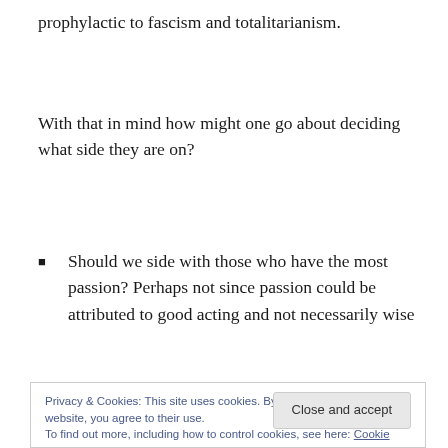prophylactic to fascism and totalitarianism.
With that in mind how might one go about deciding what side they are on?
Should we side with those who have the most passion? Perhaps not since passion could be attributed to good acting and not necessarily wise
Privacy & Cookies: This site uses cookies. By continuing to use this website, you agree to their use. To find out more, including how to control cookies, see here: Cookie Policy
science. They are not and history has proven this (think